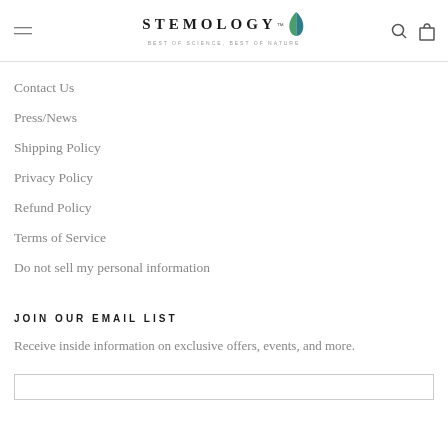STEMOLOGY — BEST OF SCIENCE, BEST OF NATURE
Contact Us
Press/News
Shipping Policy
Privacy Policy
Refund Policy
Terms of Service
Do not sell my personal information
JOIN OUR EMAIL LIST
Receive inside information on exclusive offers, events, and more.